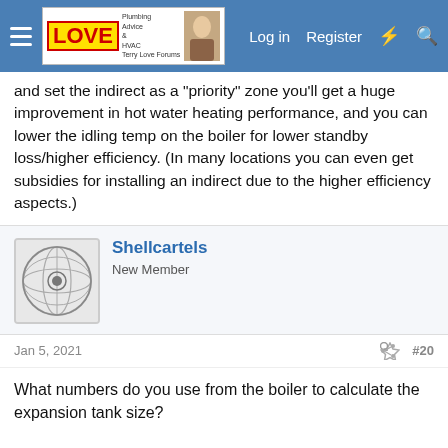Terry Love Forums — Log in | Register
and set the indirect as a "priority" zone you'll get a huge improvement in hot water heating performance, and you can lower the idling temp on the boiler for lower standby loss/higher efficiency. (In many locations you can even get subsidies for installing an indirect due to the higher efficiency aspects.)
Shellcartels
New Member
Jan 5, 2021
#20
What numbers do you use from the boiler to calculate the expansion tank size?

My boiler is:
Slant fin Sentinel SE-70 DP
C.s.a. input btu/ hr70,000
D.o.e capacity/ hr 58,000
Net i=b=r water btu 0,000